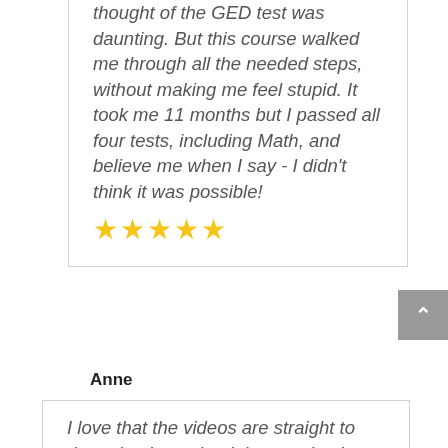...after 11 years ago the thought of the GED test was daunting. But this course walked me through all the needed steps, without making me feel stupid. It took me 11 months but I passed all four tests, including Math, and believe me when I say - I didn't think it was possible!
[Figure (other): Five gold star rating icons]
Anne
I love that the videos are straight to the point. Love that it is organized